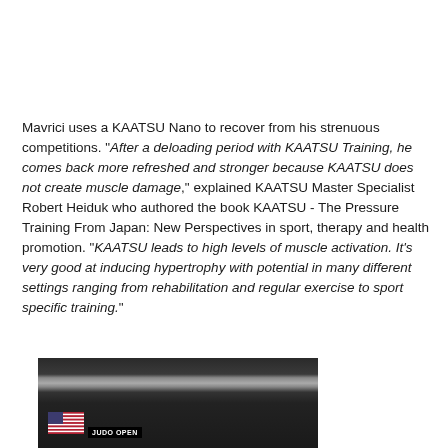Mavrici uses a KAATSU Nano to recover from his strenuous competitions. "After a deloading period with KAATSU Training, he comes back more refreshed and stronger because KAATSU does not create muscle damage," explained KAATSU Master Specialist Robert Heiduk who authored the book KAATSU - The Pressure Training From Japan: New Perspectives in sport, therapy and health promotion. "KAATSU leads to high levels of muscle activation. It's very good at inducing hypertrophy with potential in many different settings ranging from rehabilitation and regular exercise to sport specific training."
[Figure (photo): Black and white photo showing competition banners/flags including a US flag and a banner reading 'JUDO OPEN' in a sports arena setting]